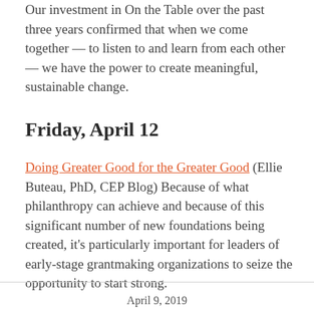Our investment in On the Table over the past three years confirmed that when we come together — to listen to and learn from each other — we have the power to create meaningful, sustainable change.
Friday, April 12
Doing Greater Good for the Greater Good (Ellie Buteau, PhD, CEP Blog) Because of what philanthropy can achieve and because of this significant number of new foundations being created, it's particularly important for leaders of early-stage grantmaking organizations to seize the opportunity to start strong.
April 9, 2019